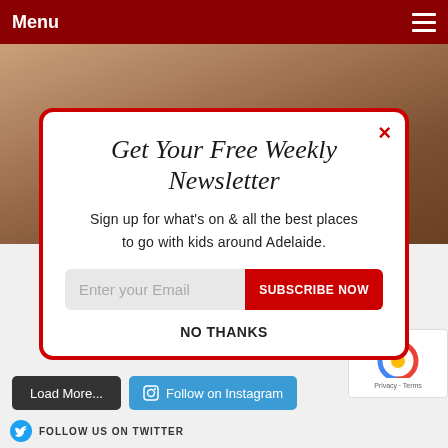Menu
[Figure (screenshot): Background photo of children near a wooden door]
[Figure (logo): POWERED BY SUMO badge]
Get Your Free Weekly Newsletter
Sign up for what's on & all the best places to go with kids around Adelaide.
Enter your Email  SUBSCRIBE NOW
NO THANKS
Load More...
Follow on Instagram
FOLLOW US ON TWITTER